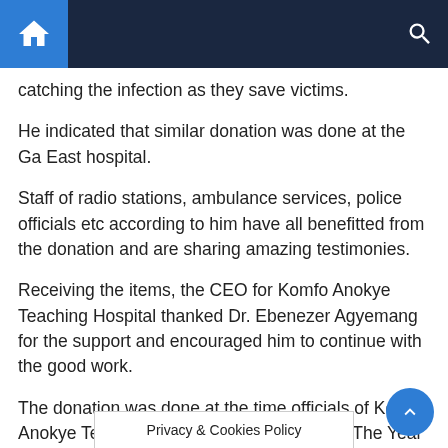catching the infection as they save victims.
He indicated that similar donation was done at the Ga East hospital.
Staff of radio stations, ambulance services, police officials etc according to him have all benefitted from the donation and are sharing amazing testimonies.
Receiving the items, the CEO for Komfo Anokye Teaching Hospital thanked Dr. Ebenezer Agyemang for the support and encouraged him to continue with the good work.
The donation was done at the time officials of Komfo Anokye Teaching Hospital were launching “The Year of Nurses and Midwives” at the forecourt of the hospital.
Privacy & Cookies Policy